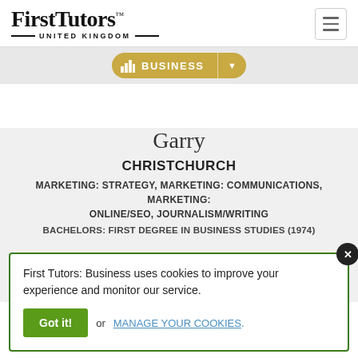[Figure (logo): FirstTutors United Kingdom logo with serif font and decorative lines]
[Figure (other): Hamburger menu button (three horizontal lines in a bordered square)]
[Figure (other): Business category navigation pill with bar chart icon and dropdown arrow]
Garry
CHRISTCHURCH
MARKETING: STRATEGY, MARKETING: COMMUNICATIONS, MARKETING: ONLINE/SEO, JOURNALISM/WRITING
BACHELORS: FIRST DEGREE IN BUSINESS STUDIES (1974)
First Tutors: Business uses cookies to improve your experience and monitor our service.
Got it! or MANAGE YOUR COOKIES.